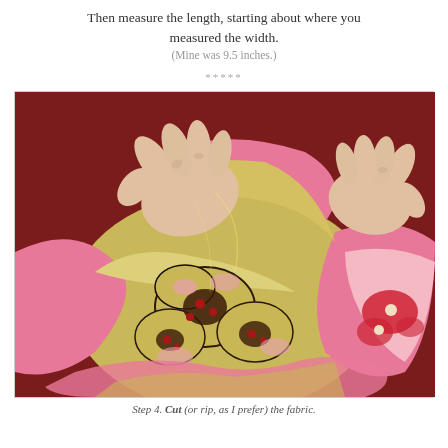Then measure the length, starting about where you measured the width.
(Mine was 9.5 inches.)
*****
[Figure (photo): Hands ripping or cutting floral fabric (pink, gold, and red flower pattern) against a dark red background.]
Step 4. Cut (or rip, as I prefer) the fabric.